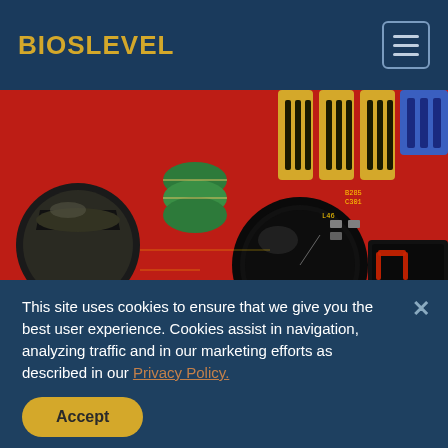BIOSLEVEL
[Figure (photo): Close-up photograph of a red electronic circuit board (PCB) showing various components including capacitors, transistors, yellow and blue connectors, IC chips, a potentiometer knob, and a seven-segment LED display on the right side.]
This site uses cookies to ensure that we give you the best user experience. Cookies assist in navigation, analyzing traffic and in our marketing efforts as described in our Privacy Policy.
Accept